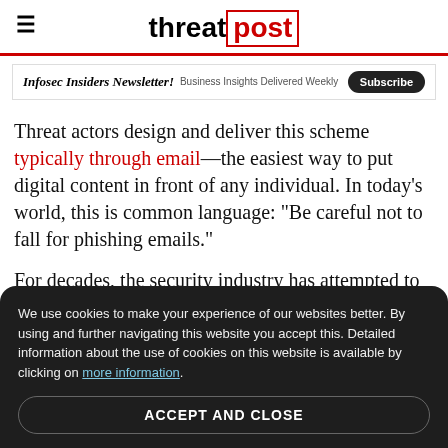threat post
Infosec Insiders Newsletter! Business Insights Delivered Weekly Subscribe
Threat actors design and deliver this scheme typically through email—the easiest way to put digital content in front of any individual. In today's world, this is common language: "Be careful not to fall for phishing emails."
For decades, the security industry has attempted to train users to stay vigilant against phishing emails with th...
We use cookies to make your experience of our websites better. By using and further navigating this website you accept this. Detailed information about the use of cookies on this website is available by clicking on more information. ACCEPT AND CLOSE